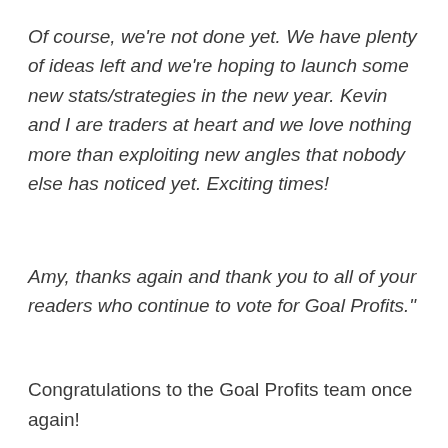Of course, we're not done yet. We have plenty of ideas left and we're hoping to launch some new stats/strategies in the new year. Kevin and I are traders at heart and we love nothing more than exploiting new angles that nobody else has noticed yet. Exciting times!
Amy, thanks again and thank you to all of your readers who continue to vote for Goal Profits."
Congratulations to the Goal Profits team once again!